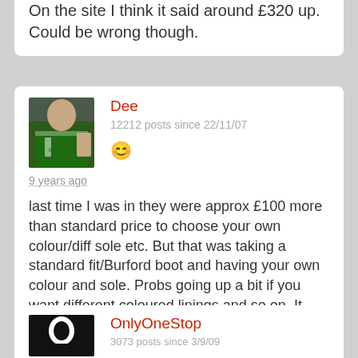On the site I think it said around £320 up. Could be wrong though.
Dee
12212 posts since 22/11/07
9 years ago
last time I was in they were approx £100 more than standard price to choose your own colour/diff sole etc. But that was taking a standard fit/Burford boot and having your own colour and sole. Probs going up a bit if you want different coloured linings and so on. It was approx £460.

solehealer offer the service too for online.
OnlyOneStop